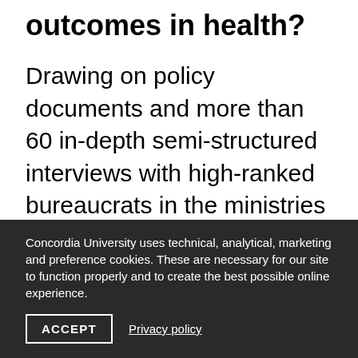outcomes in health?
Drawing on policy documents and more than 60 in-depth semi-structured interviews with high-ranked bureaucrats in the ministries of health in France and Turkey, my dissertation hypothesizes that a politicized bureaucracy can take several forms and its effects can vary across institutional settings, policy stages and
Concordia University uses technical, analytical, marketing and preference cookies. These are necessary for our site to function properly and to create the best possible online experience.
ACCEPT   Privacy policy